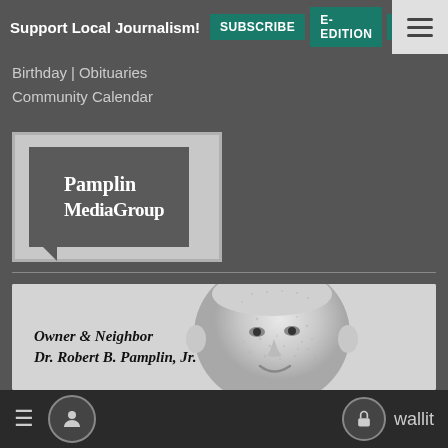Support Local Journalism! SUBSCRIBE  E-EDITION  NEWSLETTER
Birthday | Obituaries
Community Calendar
[Figure (logo): Pamplin MediaGroup logo: white text on dark grey speech bubble shape inside a light grey bordered frame]
[Figure (illustration): Engraved-style stipple illustration of a smiling bald man in a suit, centered in a light grey card. Caption reads: Owner & Neighbor / Dr. Robert B. Pamplin, Jr.]
Owner & Neighbor
Dr. Robert B. Pamplin, Jr.
≡  [user icon]  [lock icon]  wallit